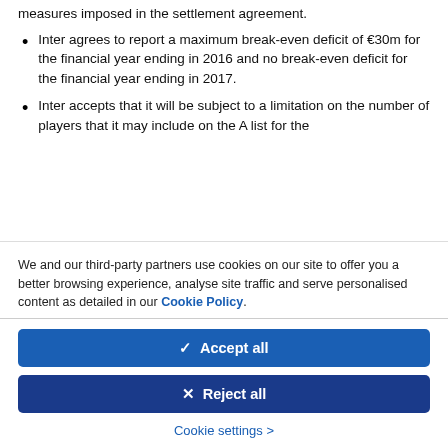measures imposed in the settlement agreement.
Inter agrees to report a maximum break-even deficit of €30m for the financial year ending in 2016 and no break-even deficit for the financial year ending in 2017.
Inter accepts that it will be subject to a limitation on the number of players that it may include on the A list for the
We and our third-party partners use cookies on our site to offer you a better browsing experience, analyse site traffic and serve personalised content as detailed in our Cookie Policy.
✓  Accept all
✕  Reject all
Cookie settings >